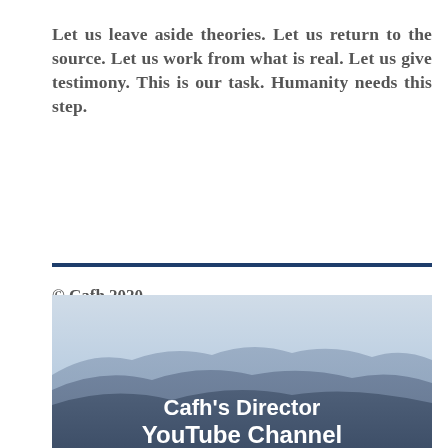Let us leave aside theories. Let us return to the source. Let us work from what is real. Let us give testimony. This is our task. Humanity needs this step.
© Cafh 2020
All rights reserved
[Figure (photo): Mountain landscape photo with bluish-purple layered mountain ridges and a misty sky, overlaid with white bold text reading 'Cafh's Director YouTube Channel']